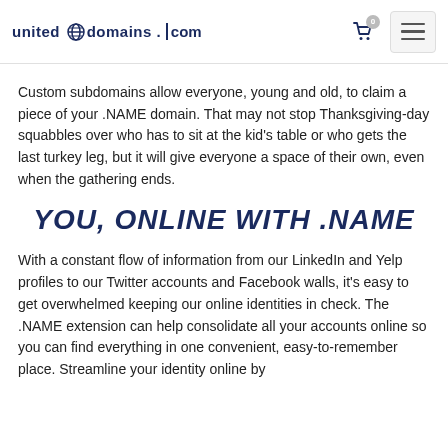united domains .com
Custom subdomains allow everyone, young and old, to claim a piece of your .NAME domain. That may not stop Thanksgiving-day squabbles over who has to sit at the kid's table or who gets the last turkey leg, but it will give everyone a space of their own, even when the gathering ends.
YOU, ONLINE WITH .NAME
With a constant flow of information from our LinkedIn and Yelp profiles to our Twitter accounts and Facebook walls, it's easy to get overwhelmed keeping our online identities in check. The .NAME extension can help consolidate all your accounts online so you can find everything in one convenient, easy-to-remember place. Streamline your identity online by creating a unified presence by yourself. With .NAME...